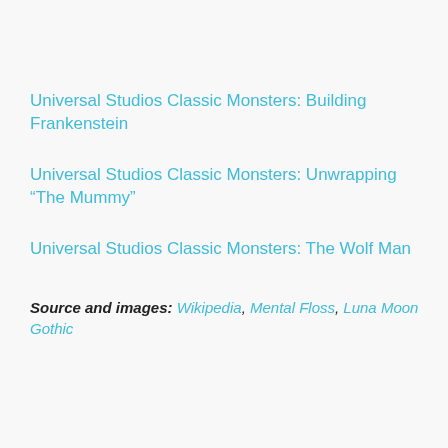Universal Studios Classic Monsters: Building Frankenstein
Universal Studios Classic Monsters: Unwrapping “The Mummy”
Universal Studios Classic Monsters: The Wolf Man
Source and images: Wikipedia, Mental Floss, Luna Moon Gothic